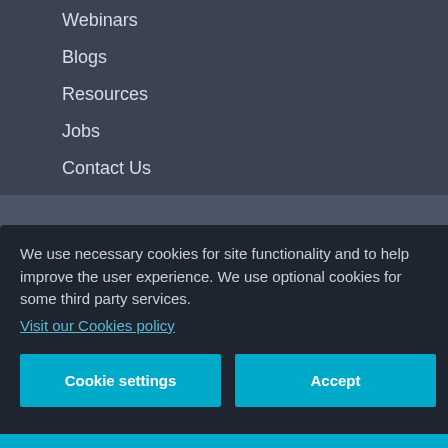Webinars
Blogs
Resources
Jobs
Contact Us
We use necessary cookies for site functionality and to help improve the user experience. We use optional cookies for some third party services.
Visit our Cookies policy
Cookie settings
Accept